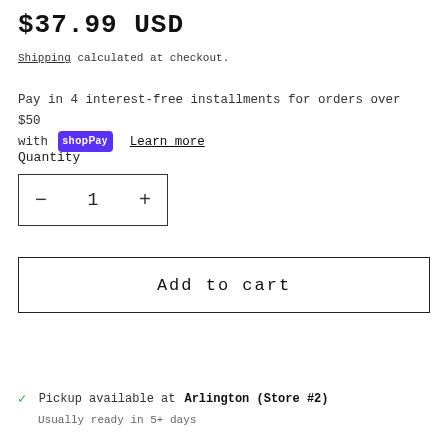$37.99 USD
Shipping calculated at checkout.
Pay in 4 interest-free installments for orders over $50 with shop Pay  Learn more
Quantity
- 1 +
Add to cart
✓ Pickup available at Arlington (Store #2)
Usually ready in 5+ days